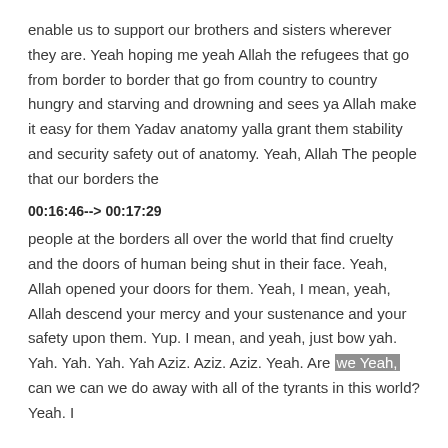enable us to support our brothers and sisters wherever they are. Yeah hoping me yeah Allah the refugees that go from border to border that go from country to country hungry and starving and drowning and sees ya Allah make it easy for them Yadav anatomy yalla grant them stability and security safety out of anatomy. Yeah, Allah The people that our borders the
00:16:46--> 00:17:29
people at the borders all over the world that find cruelty and the doors of human being shut in their face. Yeah, Allah opened your doors for them. Yeah, I mean, yeah, Allah descend your mercy and your sustenance and your safety upon them. Yup. I mean, and yeah, just bow yah. Yah. Yah. Yah. Yah Aziz. Aziz. Aziz. Yeah. Are we Yeah, can we can we do away with all of the tyrants in this world? Yeah. I